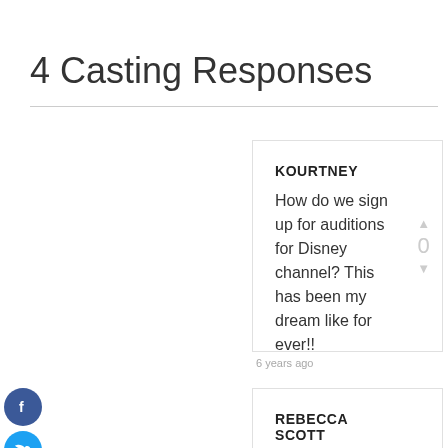4 Casting Responses
KOURTNEY
How do we sign up for auditions for Disney channel? This has been my dream like for ever!!
6 years ago
REBECCA SCOTT
PS. also have worked in the l.a. area. The film “Axis” and universal studios, for over ten years, much